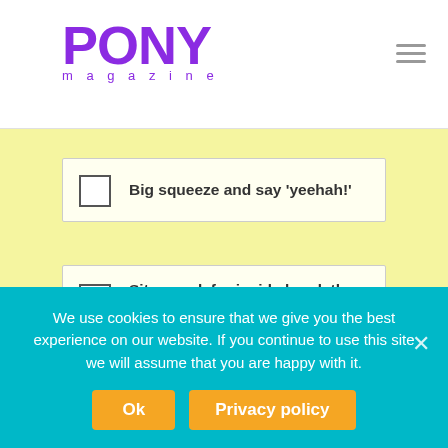PONY magazine
Big squeeze and say 'yeehah!'
Sit up, ask for inside bend, then put your outside leg behind and inside leg on the girth
MALLOW DIDN'T CANTER THE FIRST TIME RUBY ASKED HIM, BUT RUSHED INTO A
We use cookies to ensure that we give you the best experience on our website. If you continue to use this site we will assume that you are happy with it.